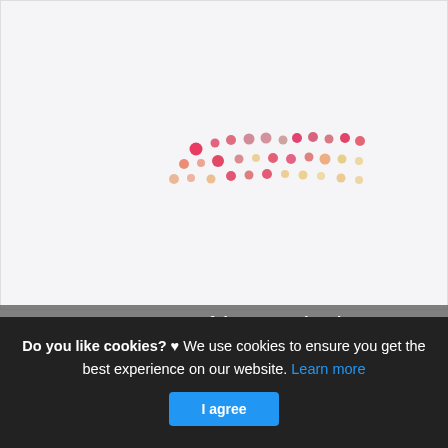[Figure (other): Scatter plot of pink/red/orange dots arranged in a loose wave or swoosh pattern on a light gray background, resembling a loading animation or decorative scatter chart.]
Ten Ton Hammer Heroes of the Storm Tier List
This is actually a post or even picture approximately the Ten
Do you like cookies? ♥ We use cookies to ensure you get the best experience on our website. Learn more
I agree